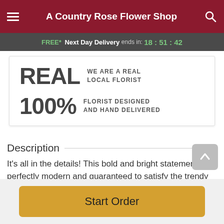A Country Rose Flower Shop
FREE* Next Day Delivery ends in: 18:51:42
REAL — WE ARE A REAL LOCAL FLORIST
100% FLORIST DESIGNED AND HAND DELIVERED
Description
It's all in the details! This bold and bright statement is perfectly modern and guaranteed to satisfy the trendy
Start Order